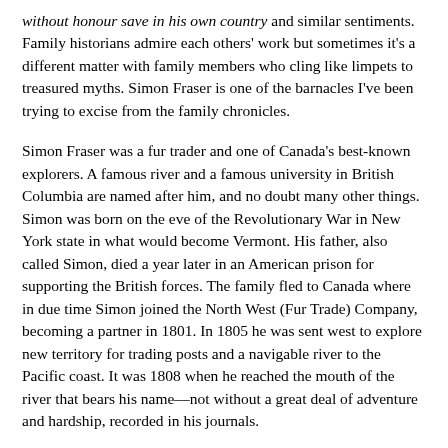without honour save in his own country and similar sentiments. Family historians admire each others' work but sometimes it's a different matter with family members who cling like limpets to treasured myths. Simon Fraser is one of the barnacles I've been trying to excise from the family chronicles.
Simon Fraser was a fur trader and one of Canada's best-known explorers. A famous river and a famous university in British Columbia are named after him, and no doubt many other things. Simon was born on the eve of the Revolutionary War in New York state in what would become Vermont. His father, also called Simon, died a year later in an American prison for supporting the British forces. The family fled to Canada where in due time Simon joined the North West (Fur Trade) Company, becoming a partner in 1801. In 1805 he was sent west to explore new territory for trading posts and a navigable river to the Pacific coast. It was 1808 when he reached the mouth of the river that bears his name—not without a great deal of adventure and hardship, recorded in his journals.